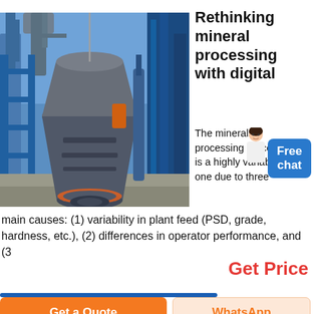[Figure (photo): Industrial mineral processing plant with large grey cone crusher/mill in center, blue steel structures, pipes, and equipment under blue sky]
Rethinking mineral processing with digital
The minerals processing process is a highly variable one due to three main causes: (1) variability in plant feed (PSD, grade, hardness, etc.), (2) differences in operator performance, and (3
Get Price
Get a Quote
WhatsApp